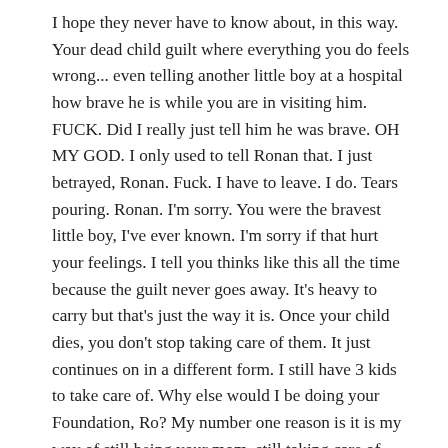I hope they never have to know about, in this way. Your dead child guilt where everything you do feels wrong... even telling another little boy at a hospital how brave he is while you are in visiting him. FUCK. Did I really just tell him he was brave. OH MY GOD. I only used to tell Ronan that. I just betrayed, Ronan. Fuck. I have to leave. I do. Tears pouring. Ronan. I'm sorry. You were the bravest little boy, I've ever known. I'm sorry if that hurt your feelings. I tell you thinks like this all the time because the guilt never goes away. It's heavy to carry but that's just the way it is. Once your child dies, you don't stop taking care of them. It just continues on in a different form. I still have 3 kids to take care of. Why else would I be doing your Foundation, Ro? My number one reason is it is my way of still being your mom, still taking care of you, and still doing a really good job at it. A job that is going to be done, so well due to how much I love you and you love me. This is why your foundation will